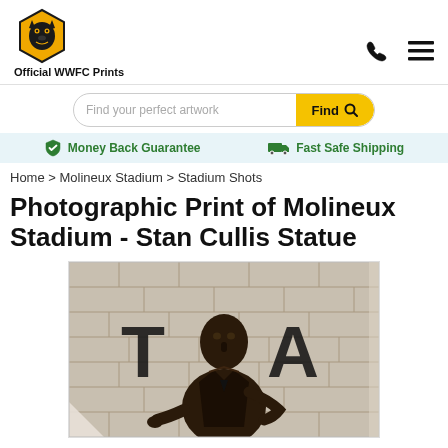Official WWFC Prints
Find your perfect artwork
Money Back Guarantee  Fast Safe Shipping
Home > Molineux Stadium > Stadium Shots
Photographic Print of Molineux Stadium - Stan Cullis Statue
[Figure (photo): Bronze statue of Stan Cullis at Molineux Stadium, with stone wall background and large letters T and A visible. Statue shows a man in a long coat with a pointing gesture. Photo is shown as a print with a curled bottom-left corner effect.]